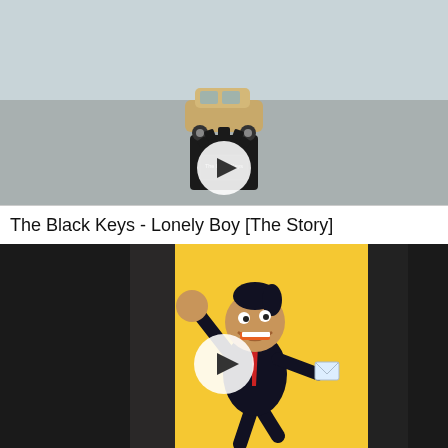[Figure (photo): Video thumbnail showing a toy car air freshener shaped like a station wagon on top of a gear-like black base with 'The Black Keys' label, with a white play button circle overlay. Blurred background.]
The Black Keys - Lonely Boy [The Story]
[Figure (photo): Video thumbnail showing an animated cartoon character in a black suit with a red tie, running joyfully with fists raised and holding an envelope, against a yellow background. White play button circle overlay.]